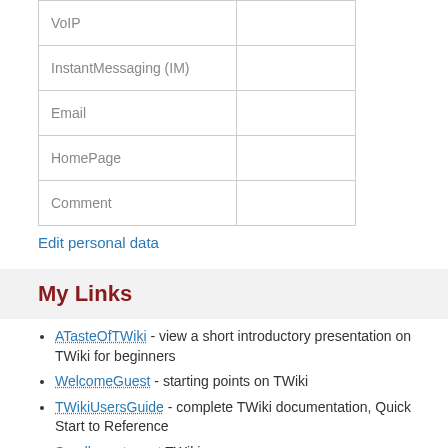| VoIP |  |
| InstantMessaging (IM) |  |
| Email |  |
| HomePage |  |
| Comment |  |
Edit personal data
My Links
ATasteOfTWiki - view a short introductory presentation on TWiki for beginners
WelcomeGuest - starting points on TWiki
TWikiUsersGuide - complete TWiki documentation, Quick Start to Reference
Sandbox - try out TWiki on your own
HuonG158Sandbox - just for me